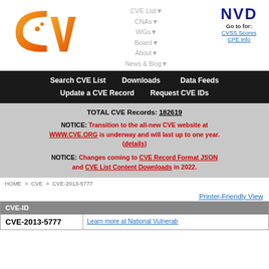[Figure (logo): CVE logo with orange gradient letters and dots]
CVE List▼
CNAs▼
WGs▼
Board▼
About▼
News & Blog▼
[Figure (logo): NVD logo — dark blue bold letters. Go to for: CVSS Scores, CPE Info]
| Search CVE List | Downloads | Data Feeds |
| --- | --- | --- |
| Update a CVE Record | Request CVE IDs |  |
TOTAL CVE Records: 182619

NOTICE: Transition to the all-new CVE website at WWW.CVE.ORG is underway and will last up to one year. (details)

NOTICE: Changes coming to CVE Record Format JSON and CVE List Content Downloads in 2022.
HOME > CVE > CVE-2013-5777
Printer-Friendly View
| CVE-ID |  |
| --- | --- |
| CVE-2013-5777 | Learn more at National Vulnerab… |